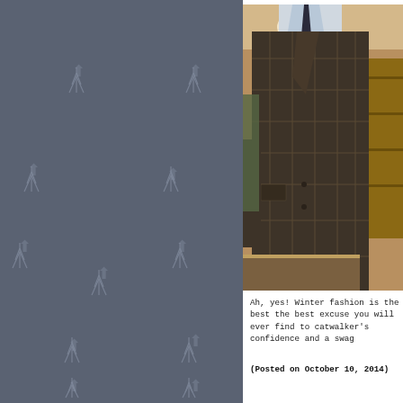[Figure (photo): Left sidebar with grey-blue background decorated with repeating faint tree/arrow icons in a grid pattern]
[Figure (photo): Photo of a dark brown plaid/windowpane tweed suit jacket on a mannequin, displayed in what appears to be a clothing store interior]
Ah, yes! Winter fashion is the best the best excuse you will ever find to catwalker's confidence and a swag
(Posted on October 10, 2014)